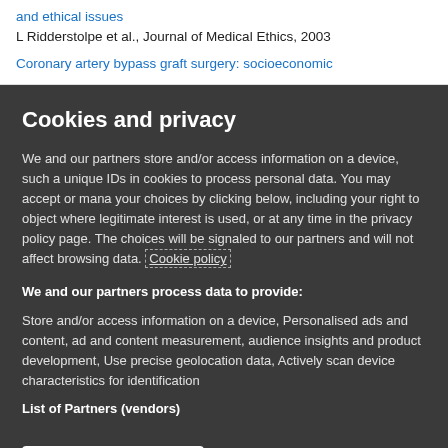and ethical issues
L Ridderstolpe et al., Journal of Medical Ethics, 2003
Coronary artery bypass graft surgery: socioeconomic
Cookies and privacy
We and our partners store and/or access information on a device, such as unique IDs in cookies to process personal data. You may accept or manage your choices by clicking below, including your right to object where legitimate interest is used, or at any time in the privacy policy page. These choices will be signaled to our partners and will not affect browsing data. Cookie policy
We and our partners process data to provide:
Store and/or access information on a device, Personalised ads and content, ad and content measurement, audience insights and product development, Use precise geolocation data, Actively scan device characteristics for identification
List of Partners (vendors)
I Accept